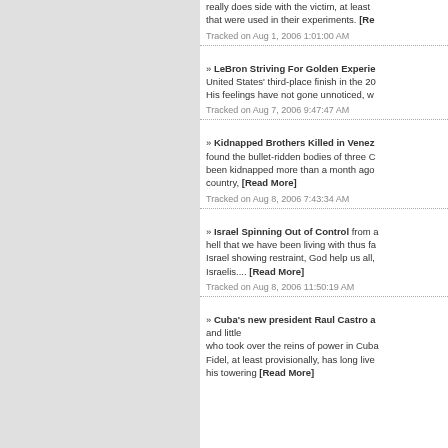really does side with the victim, at least that were used in their experiments. [Re...
Tracked on Aug 1, 2006 1:01:00 AM
» LeBron Striving For Golden Experie... United States' third-place finish in the 20... His feelings have not gone unnoticed, w...
Tracked on Aug 7, 2006 9:47:47 AM
» Kidnapped Brothers Killed in Venez... found the bullet-ridden bodies of three C... been kidnapped more than a month ago country, [Read More]
Tracked on Aug 8, 2006 7:43:34 AM
» Israel Spinning Out of Control from a... hell that we have been living with thus fa... Israel showing restraint, God help us all, Israelis.... [Read More]
Tracked on Aug 8, 2006 11:50:19 AM
» Cuba's new president Raul Castro a... and little who took over the reins of power in Cuba... Fidel, at least provisionally, has long live... his towering [Read More]